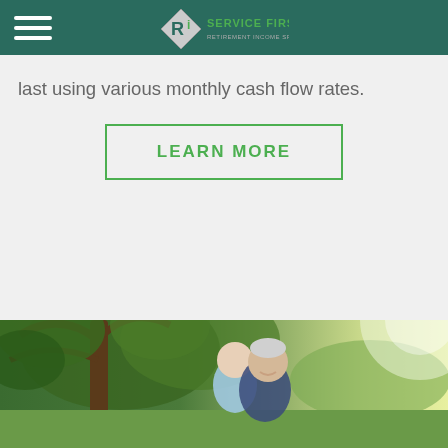Ri Service First - Navigation header with logo
last using various monthly cash flow rates.
LEARN MORE
[Figure (photo): Outdoor photo of an elderly couple smiling and embracing, with trees and green foliage in the background]